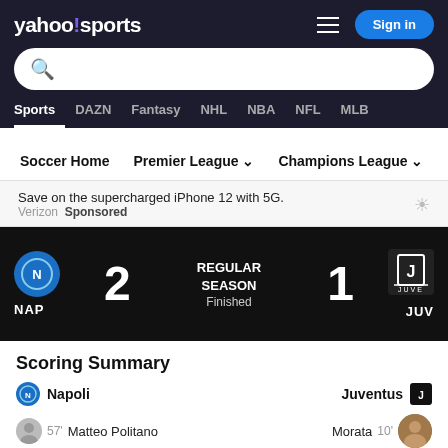[Figure (screenshot): Yahoo Sports navigation header with logo, hamburger menu, and Sign in button on dark background]
[Figure (screenshot): Search bar with purple magnifying glass icon]
Sports  DAZN  Fantasy  NHL  NBA  NFL  MLB
Soccer Home  Premier League  Champions League  Bu
Save on the supercharged iPhone 12 with 5G. Verizon Sponsored
NAP 2  REGULAR SEASON Finished  1 JUV
Scoring Summary
Napoli  Juventus
57'  Matteo Politano  Morata  10'